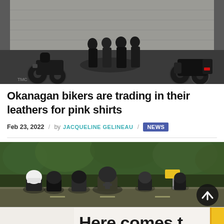[Figure (photo): Group of bikers in dark leather jackets standing between two motorcycles in a parking lot in front of a building]
Okanagan bikers are trading in their leathers for pink shirts
Feb 23, 2022 / by JACQUELINE GELINEAU / NEWS
[Figure (photo): Group of motorcycle riders wearing helmets riding down a road surrounded by green trees]
[Figure (other): Advertisement banner reading 'Here comes t']